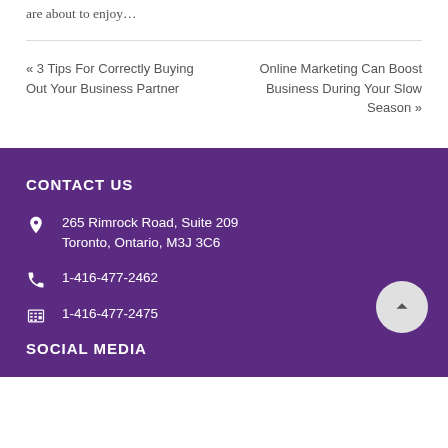are about to enjoy…
« 3 Tips For Correctly Buying Out Your Business Partner
Online Marketing Can Boost Business During Your Slow Season »
CONTACT US
265 Rimrock Road, Suite 209
Toronto, Ontario, M3J 3C6
1-416-477-2462
1-416-477-2475
SOCIAL MEDIA